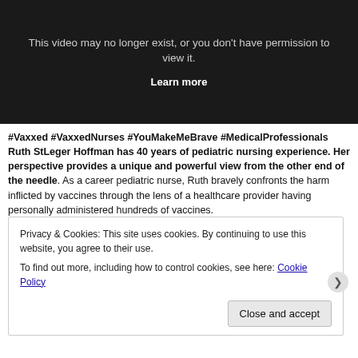[Figure (screenshot): Dark video placeholder box with text: 'This video may no longer exist, or you don't have permission to view it.' and a 'Learn more' link in bold white text.]
#Vaxxed #VaxxedNurses #YouMakeMeBrave #MedicalProfessionals Ruth StLeger Hoffman has 40 years of pediatric nursing experience. Her perspective provides a unique and powerful view from the other end of the needle. As a career pediatric nurse, Ruth bravely confronts the harm inflicted by vaccines through the lens of a healthcare provider having personally administered hundreds of vaccines. #VaxxedNation #VaxxedNationTour #VaxWithMe #Nurses #40Years #PediatricNurse
Editor: Robin Aris
Privacy & Cookies: This site uses cookies. By continuing to use this website, you agree to their use. To find out more, including how to control cookies, see here: Cookie Policy